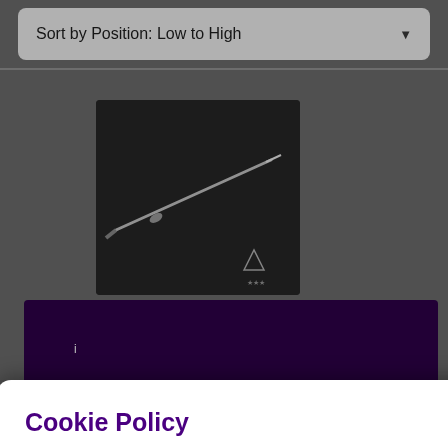Sort by Position: Low to High
[Figure (screenshot): E-commerce product listing page with dark background showing a katana/sword product image and purple product banner with star rating]
Cookie Policy
This site uses cookies to store information on your computer. See our cookie policy for further details on their usage and how to block them.
I Agree